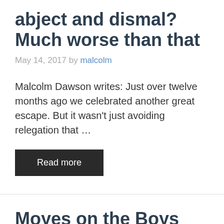abject and dismal? Much worse than that
May 14, 2017 by malcolm
Malcolm Dawson writes: Just over twelve months ago we celebrated another great escape. But it wasn't just avoiding relegation that …
Read more
Moyes on the Boys after